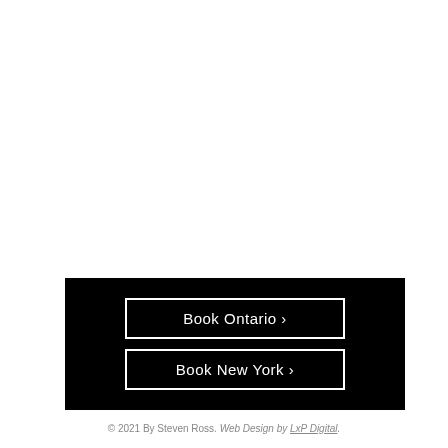[Figure (other): Black banner with two bordered white-text buttons: 'Book Ontario ›' and 'Book New York ›']
© 2021 By Steven Ross. Web Design by LxP Digital.